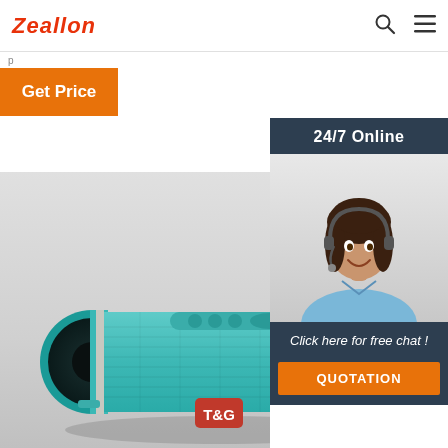Zeallon
Get Price
[Figure (photo): Customer service representative with headset, 24/7 Online chat widget with QUOTATION button]
[Figure (photo): Teal/mint colored T&G branded portable Bluetooth speaker on grey background]